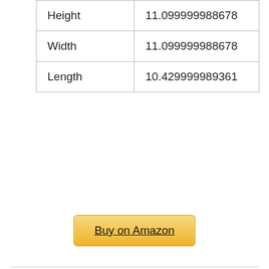| Height | 11.099999988678 |
| Width | 11.099999988678 |
| Length | 10.429999989361 |
Buy on Amazon
4. SPARIK ENJOY 11.1 inch Long Rectangle White Ceramic Succulent Planter Pots/Mini Flower Plant Containers with Bamboo